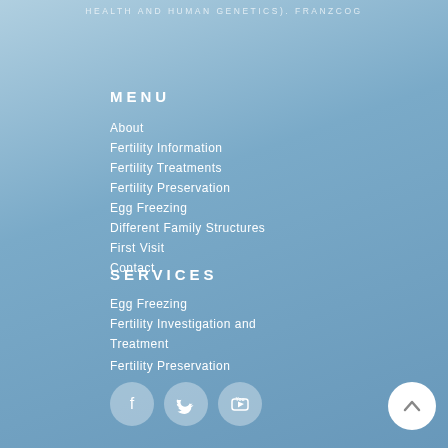HEALTH AND HUMAN GENETICS). FRANZCOG
MENU
About
Fertility Information
Fertility Treatments
Fertility Preservation
Egg Freezing
Different Family Structures
First Visit
Contact
SERVICES
Egg Freezing
Fertility Investigation and Treatment
Fertility Preservation
[Figure (illustration): Social media icons: Facebook, Twitter, YouTube circles; back-to-top arrow button]